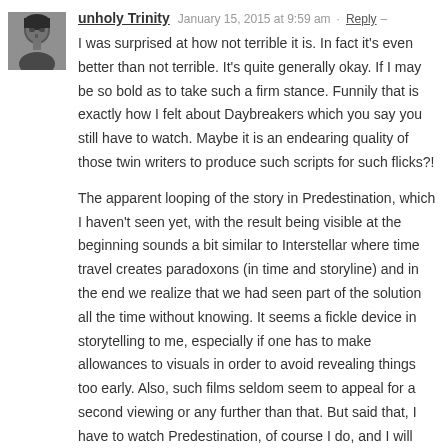[Figure (photo): Black and white avatar photo of a person]
unholy Trinity — January 15, 2015 at 9:59 am · Reply —
I was surprised at how not terrible it is. In fact it's even better than not terrible. It's quite generally okay. If I may be so bold as to take such a firm stance. Funnily that is exactly how I felt about Daybreakers which you say you still have to watch. Maybe it is an endearing quality of those twin writers to produce such scripts for such flicks?!
The apparent looping of the story in Predestination, which I haven't seen yet, with the result being visible at the beginning sounds a bit similar to Interstellar where time travel creates paradoxons (in time and storyline) and in the end we realize that we had seen part of the solution all the time without knowing. It seems a fickle device in storytelling to me, especially if one has to make allowances to visuals in order to avoid revealing things too early. Also, such films seldom seem to appeal for a second viewing or any further than that. But said that, I have to watch Predestination, of course I do, and I will report back in this or a future time loop.